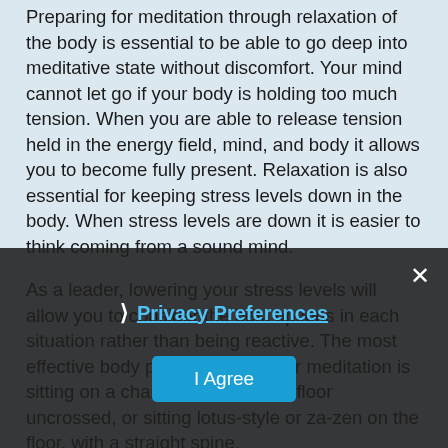Preparing for meditation through relaxation of the body is essential to be able to go deep into meditative state without discomfort. Your mind cannot let go if your body is holding too much tension. When you are able to release tension held in the energy field, mind, and body it allows you to become fully present. Relaxation is also essential for keeping stress levels down in the body. When stress levels are down it is easier to think coming from a sound mind.
As a leader, lowering your stress levels will allow you to consider the best options in each situation rather than being reactive. The most effective body position to be in for meditation is sitting on a chair with feet on the floor uncrossed, or sitting lotus-style or za-zen on the floor, with a straight spine.
One simple, yet effec... technique to relaxing the body is to start at the feet and work your way up...
❯ Privacy Preferences
I Agree